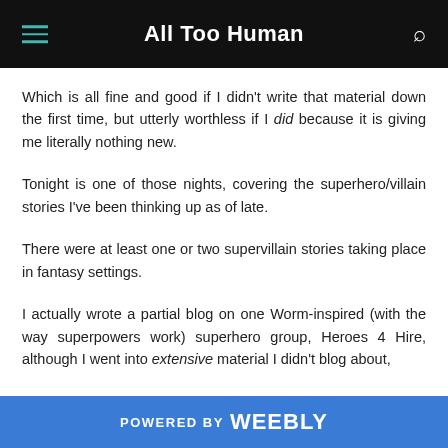All Too Human
Which is all fine and good if I didn't write that material down the first time, but utterly worthless if I did because it is giving me literally nothing new.
Tonight is one of those nights, covering the superhero/villain stories I've been thinking up as of late.
There were at least one or two supervillain stories taking place in fantasy settings.
I actually wrote a partial blog on one Worm-inspired (with the way superpowers work) superhero group, Heroes 4 Hire, although I went into extensive material I didn't blog about,
POWERED BY weebly